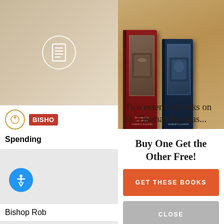[Figure (screenshot): Left sidebar showing partial website content: a beige/tan image with a circular list icon on top, a Bishop logo bar with red label 'BISHO', 'Spending' text partially visible, and an accessibility button (blue circle with person icon). Below is 'Bishop Rob' text and a Renaissance fresco image.]
[Figure (screenshot): Advertisement for two books on St. Thomas Aquinas — a red hardcover and a navy hardcover — displayed on a sandy/parchment background with the text 'Two essential books on St. Thomas Aquinas...']
Two essential books on St. Thomas Aquinas...
Buy One Get the Other Free!
GET THESE BOOKS
CLOSE